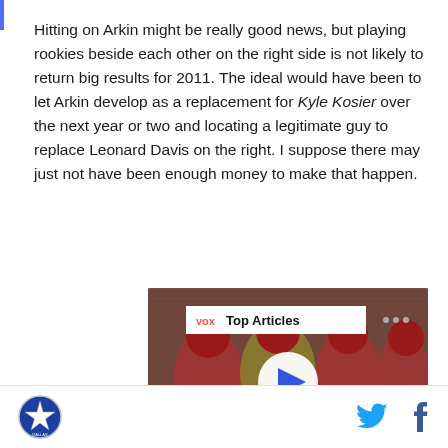Hitting on Arkin might be really good news, but playing rookies beside each other on the right side is not likely to return big results for 2011. The ideal would have been to let Arkin develop as a replacement for Kyle Kosier over the next year or two and locating a legitimate guy to replace Leonard Davis on the right. I suppose there may just not have been enough money to make that happen.
[Figure (screenshot): Video player showing football players in red uniforms with a 'Top Articles' label overlay and a play button in the center. A blue next arrow button is visible at the bottom right.]
Dallas Cowboys logo icon | Twitter icon | Facebook icon